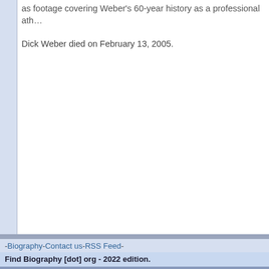as footage covering Weber's 60-year history as a professional ath…
Dick Weber died on February 13, 2005.
«« Click to go ba…
- Biography - Contact us - RSS Feed -
Find Biography [dot] org - 2022 edition. Are you looking for any famous people? This site is what you are looking for!